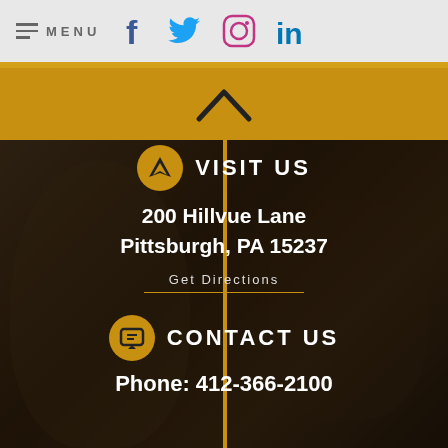MENU | Facebook | Twitter | Instagram | LinkedIn
[Figure (illustration): Gold chevron/caret up symbol on gold band]
[Figure (photo): Dark overlay photo background with smiling person and another person waving]
VISIT US
200 Hillvue Lane Pittsburgh, PA 15237
Get Directions
CONTACT US
Phone: 412-366-2100